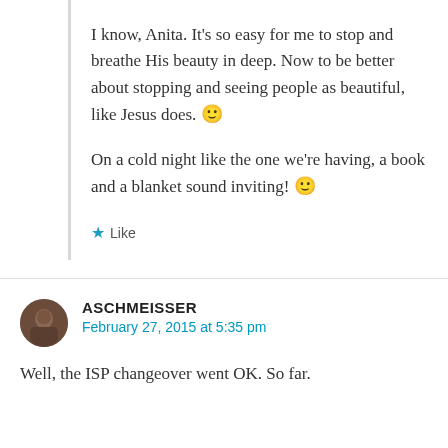I know, Anita. It's so easy for me to stop and breathe His beauty in deep. Now to be better about stopping and seeing people as beautiful, like Jesus does. 🙂
On a cold night like the one we're having, a book and a blanket sound inviting! 🙂
★ Like
ASCHMEISSER
February 27, 2015 at 5:35 pm
Well, the ISP changeover went OK. So far.